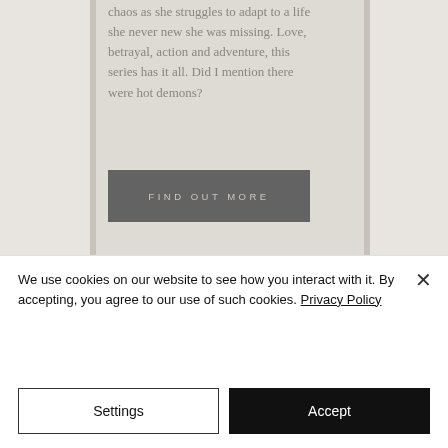Follow Star on her adventure into chaos as she struggles to adapt to a life she never new she was missing. Love, betrayal, action and adventure, this series has it all. Did I mention there were hot demons?
[Figure (other): A button with dark gray background and light gray uppercase text reading FIND OUT MORE]
[Figure (other): Second book card partially visible at the bottom of the page with wood-texture background]
We use cookies on our website to see how you interact with it. By accepting, you agree to our use of such cookies. Privacy Policy
Settings
Accept